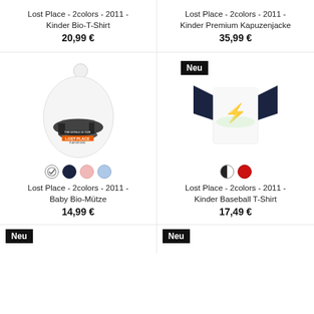Lost Place - 2colors - 2011 - Kinder Bio-T-Shirt
20,99 €
Lost Place - 2colors - 2011 - Kinder Premium Kapuzenjacke
35,99 €
[Figure (photo): White baby knot hat with Lost Place 2colors 2011 graphic print]
[Figure (photo): White and navy children baseball t-shirt with light green graphic print, Neu badge]
Lost Place - 2colors - 2011 - Baby Bio-Mütze
14,99 €
Lost Place - 2colors - 2011 - Kinder Baseball T-Shirt
17,49 €